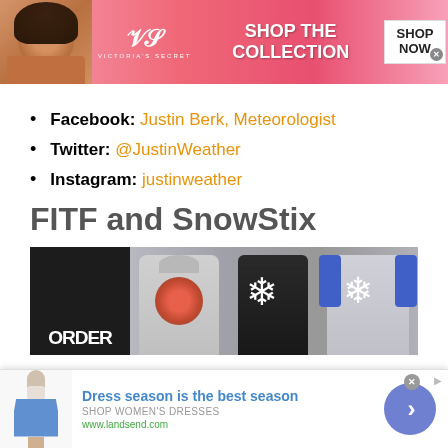[Figure (illustration): Victoria's Secret advertisement banner with model, VS logo, 'SHOP THE COLLECTION' text and 'SHOP NOW' button]
Facebook: Justin Berk, Meteorologist
Twitter: @JustinWeather
Instagram: justinweather
FITF and SnowStix
[Figure (photo): Product image showing ORDER text on black background and clothing items (hoodie, black tshirt, raglan) with snowflake designs]
[Figure (illustration): Lands' End advertisement: 'Dress season is the best season' with dress image, 'SHOP WOMEN'S DRESSES', www.landsend.com]